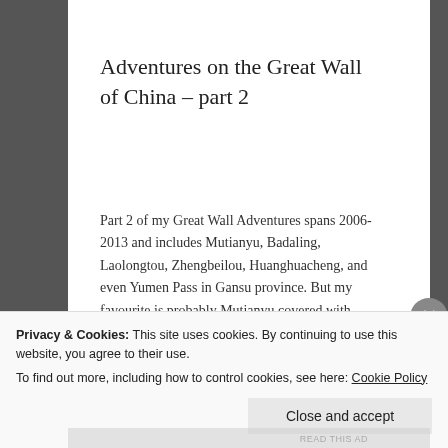Adventures on the Great Wall of China – part 2
Part 2 of my Great Wall Adventures spans 2006-2013 and includes Mutianyu, Badaling, Laolongtou, Zhengbeilou, Huanghuacheng, and even Yumen Pass in Gansu province. But my favourite is probably Mutianyu covered with snow!
September 19, 2013 in China Stories, Travel Stories.
Privacy & Cookies: This site uses cookies. By continuing to use this website, you agree to their use.
To find out more, including how to control cookies, see here: Cookie Policy
Close and accept